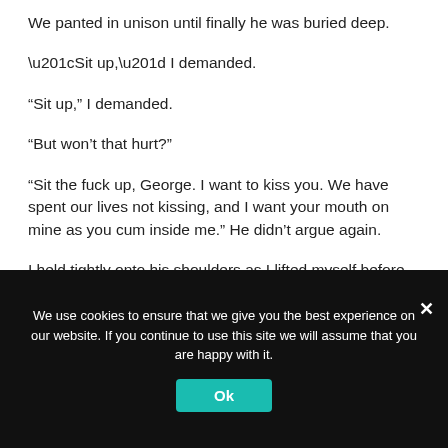We panted in unison until finally he was buried deep.
“Sit up,” I demanded.
“But won’t that hurt?”
“Sit the fuck up, George. I want to kiss you. We have spent our lives not kissing, and I want your mouth on mine as you cum inside me.” He didn’t argue again.
I held tightly onto his shoulders as I lifted myself before dropping back down. His skin burnt mine as
We use cookies to ensure that we give you the best experience on our website. If you continue to use this site we will assume that you are happy with it.